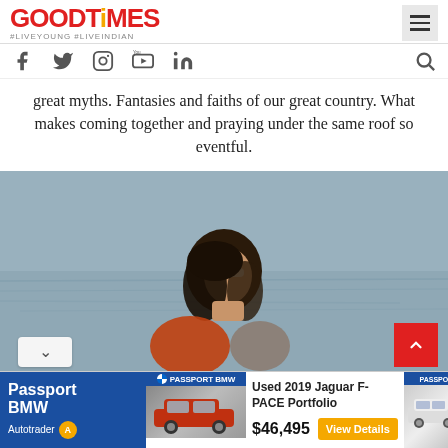GOODTIMES #LIVEYOUNG #LIVEINDIAN
great myths. Fantasies and faiths of our great country. What makes coming together and praying under the same roof so eventful.
[Figure (photo): Woman with sunglasses looking upward, outdoors near water, wearing an orange outfit]
[Figure (infographic): Advertisement banner: Passport BMW - Used 2019 Jaguar F-PACE Portfolio $46,495 View Details]